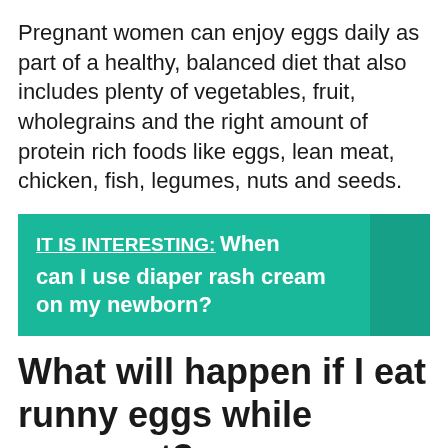Pregnant women can enjoy eggs daily as part of a healthy, balanced diet that also includes plenty of vegetables, fruit, wholegrains and the right amount of protein rich foods like eggs, lean meat, chicken, fish, legumes, nuts and seeds.
IT IS INTERESTING: When can I use diaper rash cream on my newborn?
What will happen if I eat runny eggs while pregnant?
Yes, but make sure they're fully cooked or pasteurized. Raw or undercooked eggs can carry disease-causing organisms like Salmonella bacteria, which can cause food